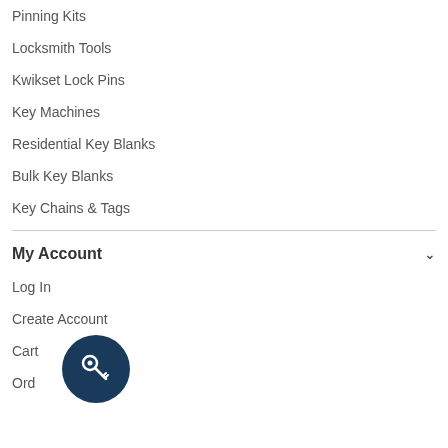Pinning Kits
Locksmith Tools
Kwikset Lock Pins
Key Machines
Residential Key Blanks
Bulk Key Blanks
Key Chains & Tags
My Account
Log In
Create Account
Cart
Order History
Mailing Address
[Figure (logo): Dark navy blue circular icon with a key/wrench tool symbol in white]